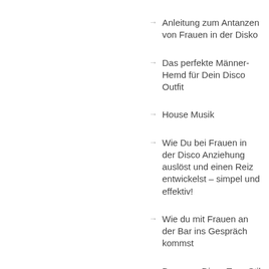Anleitung zum Antanzen von Frauen in der Disko
Das perfekte Männer-Hemd für Dein Disco Outfit
House Musik
Wie Du bei Frauen in der Disco Anziehung auslöst und einen Reiz entwickelst – simpel und effektiv!
Wie du mit Frauen an der Bar ins Gespräch kommst
Der neue Disco Tanz Stil